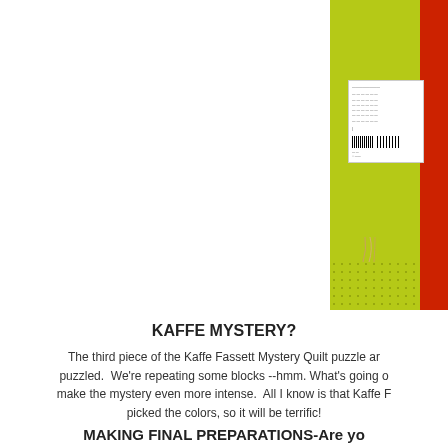[Figure (photo): A yellow-green (chartreuse) fabric or product package with a bold red vertical stripe on the right side. A white label tag is attached near the middle-left of the package. The bottom portion shows a dot/grid pattern on the green background. Threads or ties hang from the bottom of the label.]
KAFFE MYSTERY?
The third piece of the Kaffe Fassett Mystery Quilt puzzle ar puzzled.  We're repeating some blocks --hmm. What's going make the mystery even more intense.  All I know is that Kaffe F picked the colors, so it will be terrific!
MAKING FINAL PREPARATIONS-Are yo